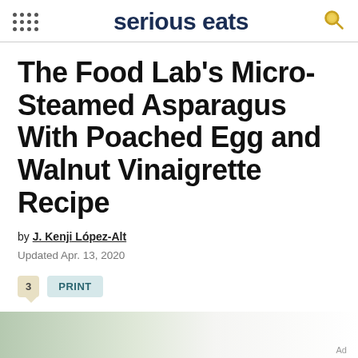serious eats
The Food Lab's Micro-Steamed Asparagus With Poached Egg and Walnut Vinaigrette Recipe
by J. Kenji López-Alt
Updated Apr. 13, 2020
3   PRINT
[Figure (photo): Partial photo of the dish at bottom of page]
Ad